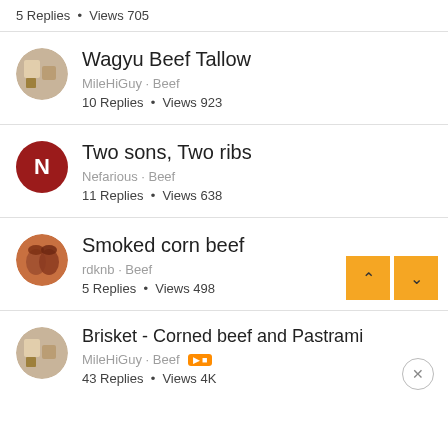5 Replies · Views 705
Wagyu Beef Tallow
MileHiGuy · Beef
10 Replies · Views 923
Two sons, Two ribs
Nefarious · Beef
11 Replies · Views 638
Smoked corn beef
rdknb · Beef
5 Replies · Views 498
Brisket - Corned beef and Pastrami
MileHiGuy · Beef
43 Replies · Views 4K